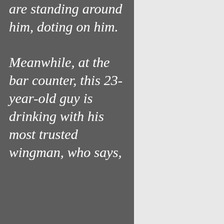are standing around him, doting on him.

Meanwhile, at the bar counter, this 23-year-old guy is drinking with his most trusted wingman, who says,